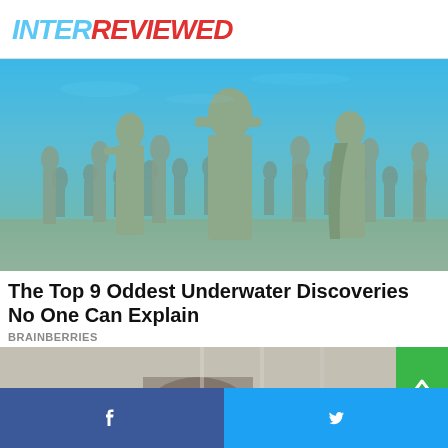INTERREVIEWED
[Figure (photo): Underwater photograph of many life-size human statues standing on the ocean floor, covered in algae and marine growth, with blue water visible above]
The Top 9 Oddest Underwater Discoveries No One Can Explain
BRAINBERRIES
[Figure (photo): Partial view of a person's head from above, in a blurred/bokeh indoor setting, with a green scroll-to-top button overlay on the right]
[Figure (infographic): Social share bar with Facebook and Twitter icons at the bottom of the page]